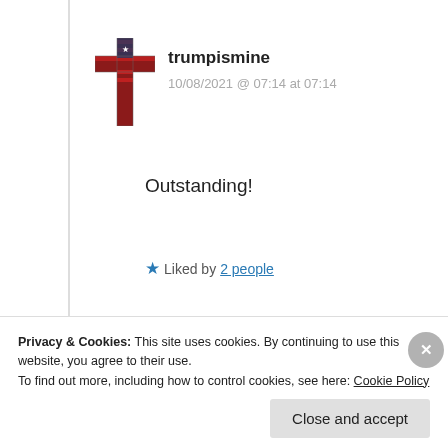trumpismine
10/08/2021 @ 07:14 at 07:14
Outstanding!
★ Liked by 2 people
↪ Reply
Privacy & Cookies: This site uses cookies. By continuing to use this website, you agree to their use.
To find out more, including how to control cookies, see here: Cookie Policy
Close and accept